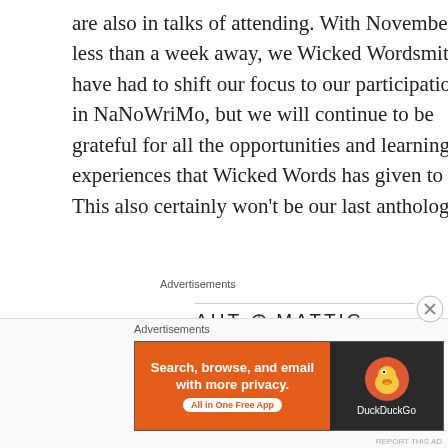are also in talks of attending. With November less than a week away, we Wicked Wordsmiths have had to shift our focus to our participation in NaNoWriMo, but we will continue to be grateful for all the opportunities and learning experiences that Wicked Words has given to us.  This also certainly won't be our last anthology.
Advertisements
[Figure (logo): Automattic logo with stylized O containing a target/dot symbol]
[Figure (screenshot): Build a better web and a better world — Automattic advertisement partial]
Advertisements
[Figure (screenshot): DuckDuckGo advertisement: Search, browse, and email with more privacy. All in One Free App]